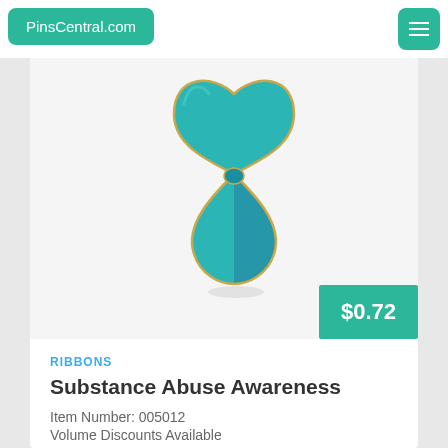PinsCentral.com
[Figure (photo): Teal awareness ribbon pin on light gray background, gold outline, used for Substance Abuse Awareness]
$0.72
RIBBONS
Substance Abuse Awareness
Item Number: 005012
Volume Discounts Available
Info